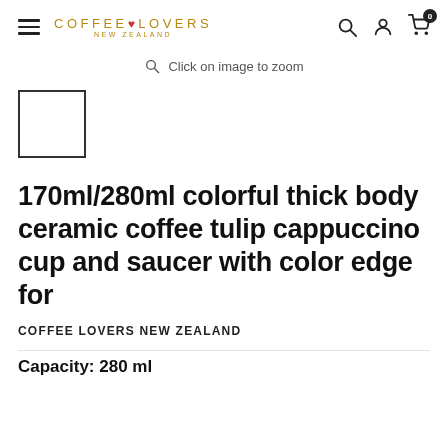COFFEE LOVERS NEW ZEALAND
Click on image to zoom
[Figure (other): Small empty thumbnail box with black border, product image placeholder]
170ml/280ml colorful thick body ceramic coffee tulip cappuccino cup and saucer with color edge for
COFFEE LOVERS NEW ZEALAND